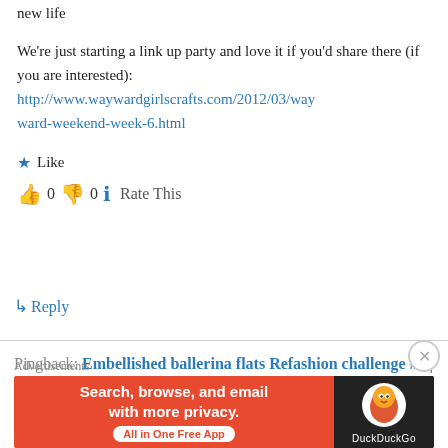new life
We're just starting a link up party and love it if you'd share there (if you are interested): http://www.waywardgirlscrafts.com/2012/03/wayward-weekend-week-6.html
★ Like
👍 0 👎 0 ℹ Rate This
↳ Reply
Pingback: Embellished ballerina flats Refashion challenge #3 | Drama Queen Seams
[Figure (screenshot): DuckDuckGo advertisement banner: orange background with text 'Search, browse, and email with more privacy. All in One Free App' and DuckDuckGo logo on dark background]